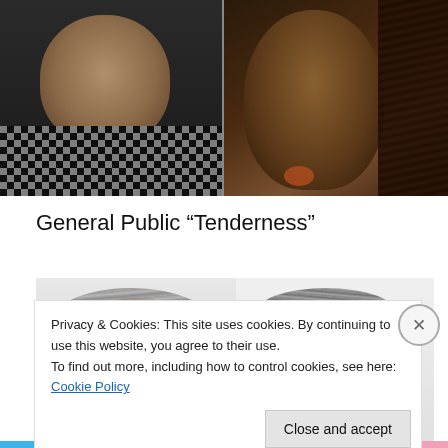[Figure (photo): Top portion of page showing two portrait photos: left side shows a person wearing a black checkered/patterned top, right side shows a person with dreadlocks]
General Public “Tenderness”
[Figure (photo): Two people photographed from approximately shoulder up against a light background, both smiling or looking at camera]
Privacy & Cookies: This site uses cookies. By continuing to use this website, you agree to their use.
To find out more, including how to control cookies, see here: Cookie Policy